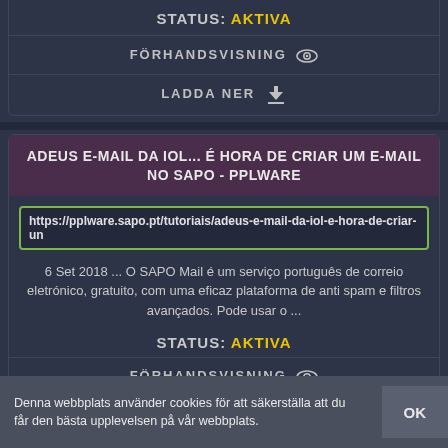STATUS: AKTIVA
FÖRHANDSVISNING
LADDA NER
ADEUS E-MAIL DA IOL... É HORA DE CRIAR UM E-MAIL NO SAPO - PPLWARE
https://pplware.sapo.pt/tutoriais/adeus-e-mail-da-iol-e-hora-de-criar-un
6 Set 2018 ... O SAPO Mail é um serviço português de correio eletrónico, gratuito, com uma eficaz plataforma de anti spam e filtros avançados. Pode usar o ...
STATUS: AKTIVA
FÖRHANDSVISNING
Denna webbplats använder cookies för att säkerställa att du får den bästa upplevelsen på vår webbplats.